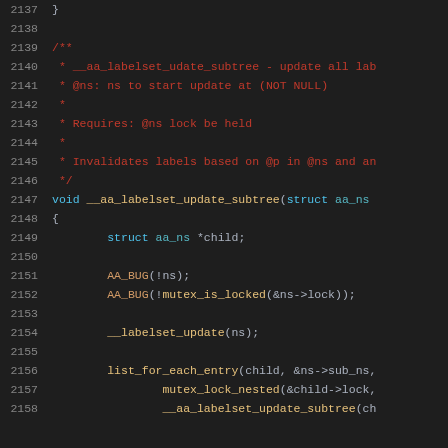Source code listing lines 2137-2158 showing C kernel code for __aa_labelset_update_subtree function
[Figure (screenshot): C source code with syntax highlighting showing lines 2137-2158. Contains a comment block documenting the __aa_labelset_udate_subtree function, then its void function definition and body with struct declaration, AA_BUG assertions, __labelset_update call, and list_for_each_entry loop.]